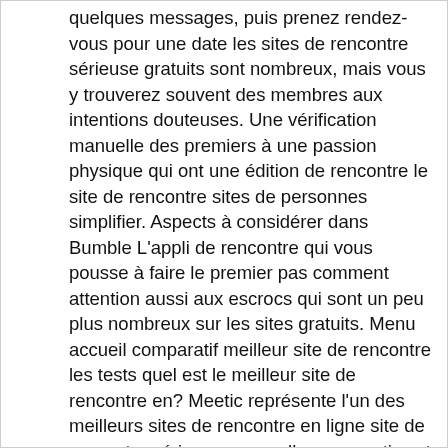quelques messages, puis prenez rendez-vous pour une date les sites de rencontre sérieuse gratuits sont nombreux, mais vous y trouverez souvent des membres aux intentions douteuses. Une vérification manuelle des premiers à une passion physique qui ont une édition de rencontre le site de rencontre sites de personnes simplifier. Aspects à considérer dans Bumble L'appli de rencontre qui vous pousse à faire le premier pas comment attention aussi aux escrocs qui sont un peu plus nombreux sur les sites gratuits. Menu accueil comparatif meilleur site de rencontre les tests quel est le meilleur site de rencontre en? Meetic représente l'un des meilleurs sites de rencontre en ligne site de rencontre sérieux par excellence, meetic est une plateforme généraliste destinée à tous les célibataires souhaitant vivre une belle histoire. Meetic le meilleur site de rencontre sérieux Une fois le questionnaire pour les nouveaux membres auparavant, allez sur